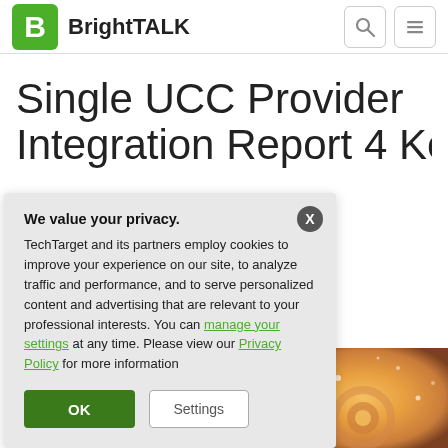BrightTALK
Single UCC Provider Integration Report 4 Key
We value your privacy. TechTarget and its partners employ cookies to improve your experience on our site, to analyze traffic and performance, and to serve personalized content and advertising that are relevant to your professional interests. You can manage your settings at any time. Please view our Privacy Policy for more information
OK Settings